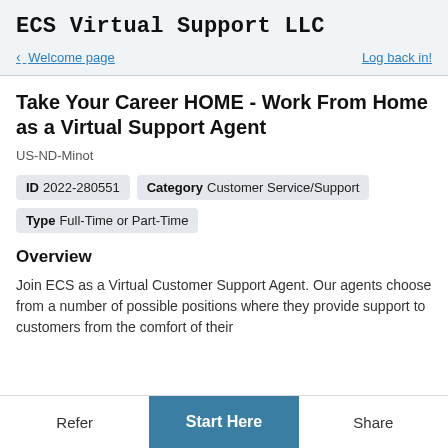ECS Virtual Support LLC
Welcome page | Log back in!
Take Your Career HOME - Work From Home as a Virtual Support Agent
US-ND-Minot
ID 2022-280551  Category Customer Service/Support
Type Full-Time or Part-Time
Overview
Join ECS as a Virtual Customer Support Agent. Our agents choose from a number of possible positions where they provide support to customers from the comfort of their
Refer | Start Here | Share